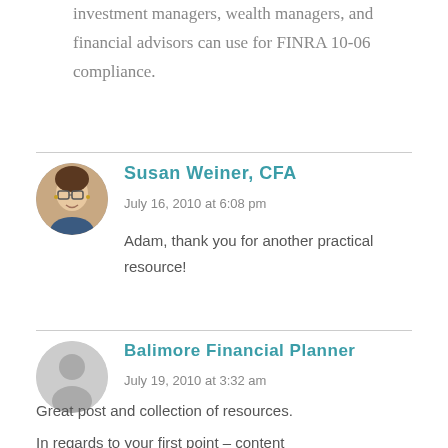investment managers, wealth managers, and financial advisors can use for FINRA 10-06 compliance.
Susan Weiner, CFA
July 16, 2010 at 6:08 pm
Adam, thank you for another practical resource!
Balimore Financial Planner
July 19, 2010 at 3:32 am
Great post and collection of resources.
In regards to your first point – content